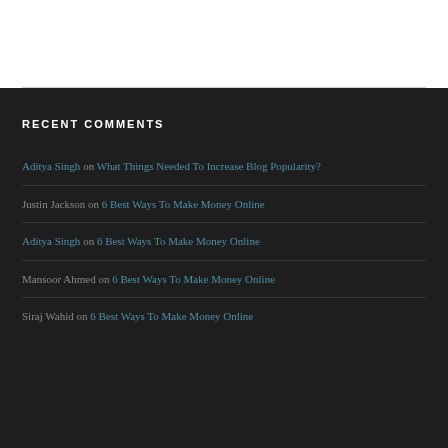RECENT COMMENTS
Aditya Singh on What Things Needed To Increase Blog Popularity?
Justin Jackson on 6 Best Ways To Make Money Online
Aditya Singh on 6 Best Ways To Make Money Online
Mansoor Ahmed on 6 Best Ways To Make Money Online
Siraj Wahid on 6 Best Ways To Make Money Online